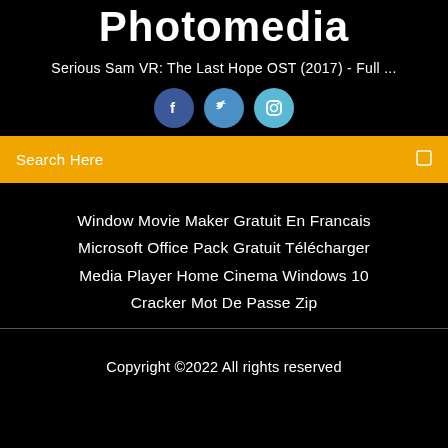Photomedia
Serious Sam VR: The Last Hope OST (2017) - Full ...
[Figure (illustration): Three social media icon circles: Facebook (dark blue), Twitter (medium blue), Instagram (light blue)]
Search Here
Window Movie Maker Gratuit En Francais
Microsoft Office Pack Gratuit Télécharger
Media Player Home Cinema Windows 10
Cracker Mot De Passe Zip
Copyright ©2022 All rights reserved